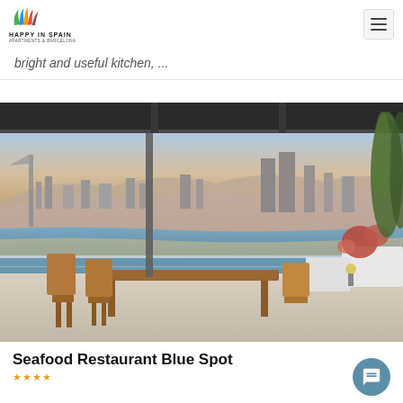HAPPY IN SPAIN - Apartments & Barcelona
bright and useful kitchen, ...
[Figure (photo): Rooftop restaurant terrace with wooden chairs and tables overlooking Barcelona skyline and waterfront at golden hour. Large glass windows reflect the cityscape with mountains in background; planters with pink flowers and trees on terrace.]
Seafood Restaurant Blue Spot